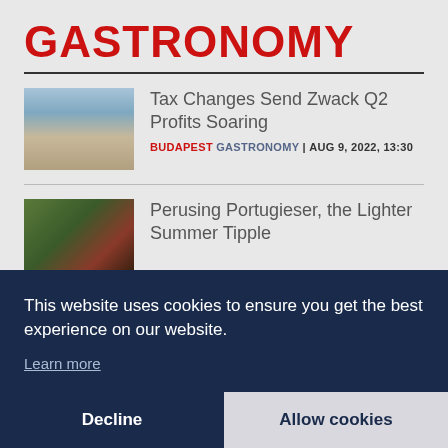GASTRONOMY
Tax Changes Send Zwack Q2 Profits Soaring
BUDAPEST GASTRONOMY | AUG 9, 2022, 13:30
Perusing Portugieser, the Lighter Summer Tipple
This website uses cookies to ensure you get the best experience on our website.
Learn more
Decline
Allow cookies